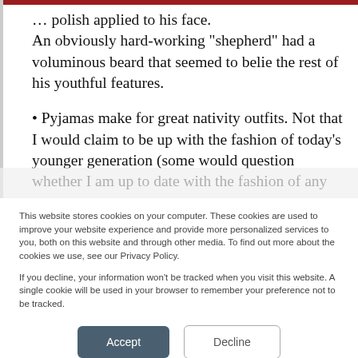polish applied to his face. An obviously hard-working “shepherd” had a voluminous beard that seemed to belie the rest of his youthful features.
• Pyjamas make for great nativity outfits. Not that I would claim to be up with the fashion of today’s younger generation (some would question whether I am up to date with the fashion of any
This website stores cookies on your computer. These cookies are used to improve your website experience and provide more personalized services to you, both on this website and through other media. To find out more about the cookies we use, see our Privacy Policy.

If you decline, your information won’t be tracked when you visit this website. A single cookie will be used in your browser to remember your preference not to be tracked.
Accept
Decline